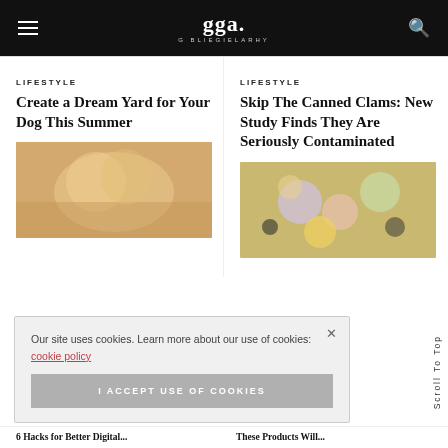gga. G BLIEGIELARHY
LIFESTYLE
Create a Dream Yard for Your Dog This Summer
LIFESTYLE
Skip The Canned Clams: New Study Finds They Are Seriously Contaminated
[Figure (photo): Photo of a dog or person outdoors, warm tones]
[Figure (photo): Colorful food or flowers photo, pinks greens and yellows]
Our site uses cookies. Learn more about our use of cookies: cookie policy
I ACCEPT USE OF COOKIES
Scroll To Top
6 Hacks for Better Digital...
These Products Will...